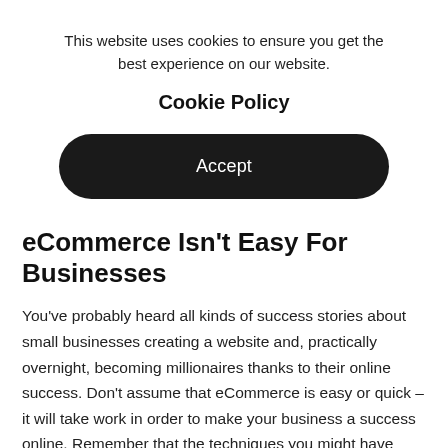This website uses cookies to ensure you get the best experience on our website.
Cookie Policy
[Figure (other): Black rounded rectangle button with white text 'Accept']
eCommerce Isn't Easy For Businesses
You've probably heard all kinds of success stories about small businesses creating a website and, practically overnight, becoming millionaires thanks to their online success. Don't assume that eCommerce is easy or quick – it will take work in order to make your business a success online. Remember that the techniques you might have used offline won't necessarily transfer to the internet.